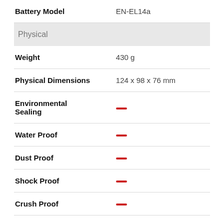| Property | Value |
| --- | --- |
| Battery Model | EN-EL14a |
| Physical |  |
| Weight | 430 g |
| Physical Dimensions | 124 x 98 x 76 mm |
| Environmental Sealing | — |
| Water Proof | — |
| Dust Proof | — |
| Shock Proof | — |
| Crush Proof | — |